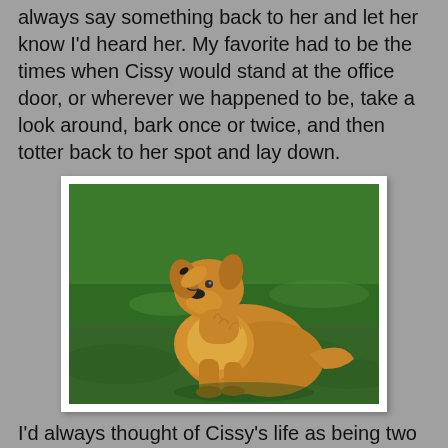always say something back to her and let her know I'd heard her. My favorite had to be the times when Cissy would stand at the office door, or wherever we happened to be, take a look around, bark once or twice, and then totter back to her spot and lay down.
[Figure (photo): A golden/tan colored dog sitting on green grass, with its head tilted upward as if howling or looking up. The dog appears elderly.]
I'd always thought of Cissy's life as being two totally different volumes because I didn't know anything about her life before she came to us from a Virginia shelter. At the time we thought Cissy was around 12 years old. But looking back at it, I guess she had to be around 8. Whatever her age, Cissy was truly a shell of a dog when we met and initially there